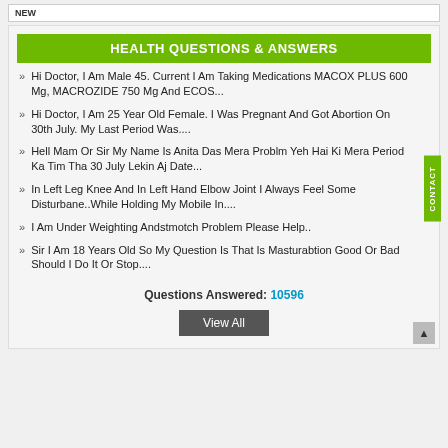HEALTH QUESTIONS & ANSWERS
Hi Doctor, I Am Male 45. Current I Am Taking Medications MACOX PLUS 600 Mg, MACROZIDE 750 Mg And ECOS...
Hi Doctor, I Am 25 Year Old Female. I Was Pregnant And Got Abortion On 30th July. My Last Period Was....
Hell Mam Or Sir My Name Is Anita Das Mera Problm Yeh Hai Ki Mera Period Ka Tim Tha 30 July Lekin Aj Date...
In Left Leg Knee And In Left Hand Elbow Joint I Always Feel Some Disturbane..While Holding My Mobile In....
I Am Under Weighting Andstmotch Problem Please Help..
Sir I Am 18 Years Old So My Question Is That Is Masturabtion Good Or Bad Should I Do It Or Stop....
Questions Answered: 10596
View All